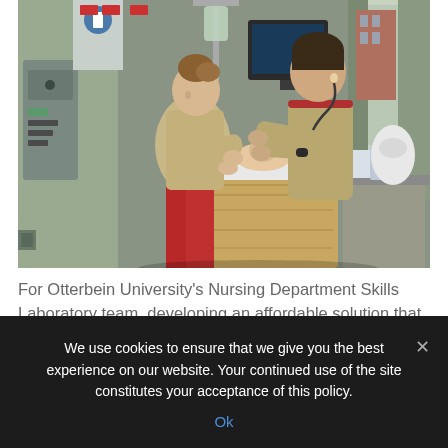[Figure (photo): Two nursing students in tan scrubs with red accents leaning over a medical simulation mannequin on a wooden crib/table in a hospital skills laboratory setting. Medical equipment visible on walls and a window in the background.]
For Otterbein University's Nursing Department Skills Laboratory team, developing an affordable solution that didn't sacrifice simulation capabilities was crucial. In
We use cookies to ensure that we give you the best experience on our website. Your continued use of the site constitutes your acceptance of this policy.
Ok